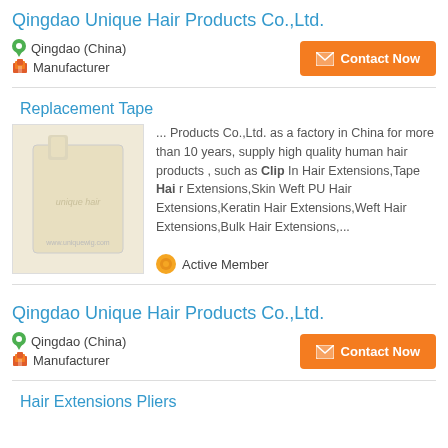Qingdao Unique Hair Products Co.,Ltd.
Qingdao (China)
Manufacturer
Contact Now
Replacement Tape
[Figure (photo): Product photo of replacement tape, beige/cream colored fabric piece, watermark: www.uniquewig.com]
... Products Co.,Ltd. as a factory in China for more than 10 years, supply high quality human hair products , such as Clip In Hair Extensions,Tape Hai r Extensions,Skin Weft PU Hair Extensions,Keratin Hair Extensions,Weft Hair Extensions,Bulk Hair Extensions,...
Active Member
Qingdao Unique Hair Products Co.,Ltd.
Qingdao (China)
Manufacturer
Contact Now
Hair Extensions Pliers